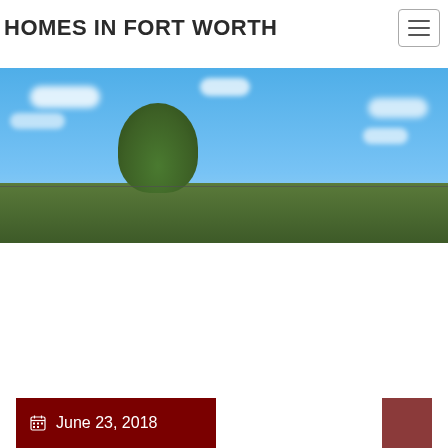HOMES IN FORT WORTH
[Figure (photo): Outdoor photo showing blue sky with white clouds and a green tree canopy at the bottom, with electrical lines visible]
June 23, 2018